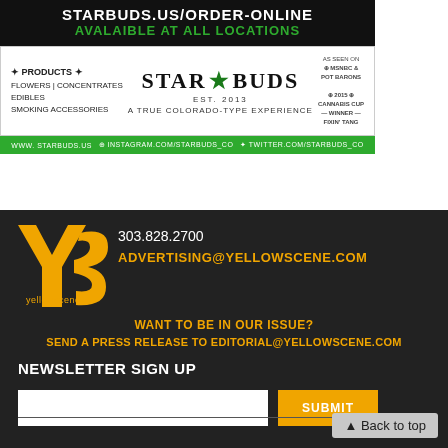[Figure (advertisement): Star Buds cannabis dispensary advertisement. Top section black background with white bold text STARBUDS.US/ORDER-ONLINE and green text AVALAIBLE AT ALL LOCATIONS. Middle white section showing STAR BUDS logo with star, EST. 2013, A TRUE COLORADO-TYPE EXPERIENCE, products listed (flowers, concentrates, edibles, smoking accessories), awards text. Bottom green footer bar with website and social media links.]
[Figure (logo): Yellow Scene magazine logo: large yellow YS letters with yellowscene text below]
303.828.2700
ADVERTISING@YELLOWSCENE.COM
WANT TO BE IN OUR ISSUE?
SEND A PRESS RELEASE TO EDITORIAL@YELLOWSCENE.COM
NEWSLETTER SIGN UP
SUBMIT
▲ Back to top